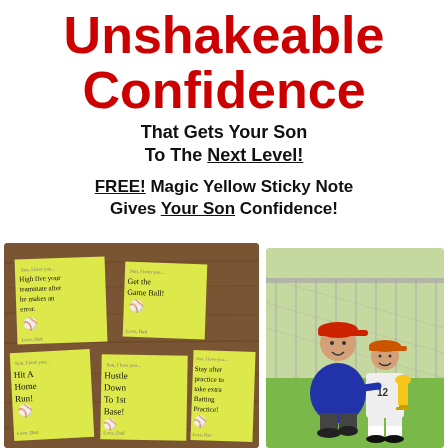Unshakeable Confidence
That Gets Your Son To The Next Level!
FREE! Magic Yellow Sticky Note Gives Your Son Confidence!
[Figure (photo): Five yellow sticky notes on a wooden surface with handwritten motivational messages from Dad, including 'High five your teammate after he makes an error', 'Get the Game Ball!', 'Hit A Home Run!', 'Hustle Down To 1st Base!', 'Stay after practice to take extra Batting Practice!']
[Figure (photo): A father kneeling next to his young son in baseball uniform holding a trophy, on a grassy baseball field with chain-link fence in background]